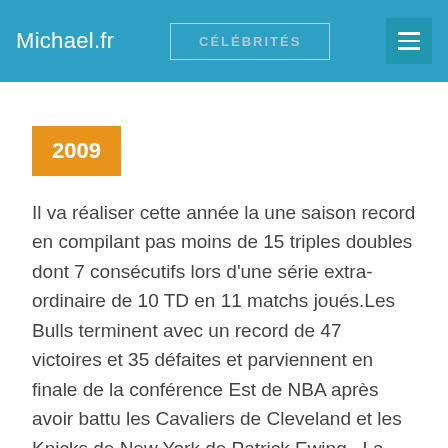Michael.fr | CÉLÉBRITÉS
2009
Il va réaliser cette année la une saison record en compilant pas moins de 15 triples doubles dont 7 consécutifs lors d'une série extra-ordinaire de 10 TD en 11 matchs joués.Les Bulls terminent avec un record de 47 victoires et 35 défaites et parviennent en finale de la conférence Est de NBA après avoir battu les Cavaliers de Cleveland et les Knicks de New York de Patrick Ewing . La série contre les Cavaliers, dans laquelle il tourne à 39,8 points de moyenne, inclut un temps fort de la